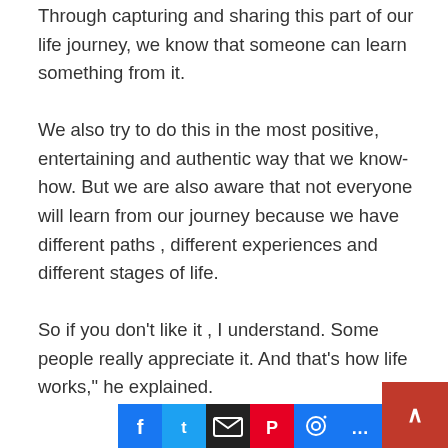Through capturing and sharing this part of our life journey, we know that someone can learn something from it.
We also try to do this in the most positive, entertaining and authentic way that we know-how. But we are also aware that not everyone will learn from our journey because we have different paths , different experiences and different stages of life.
So if you don't like it , I understand. Some people really appreciate it. And that's how life works," he explained.